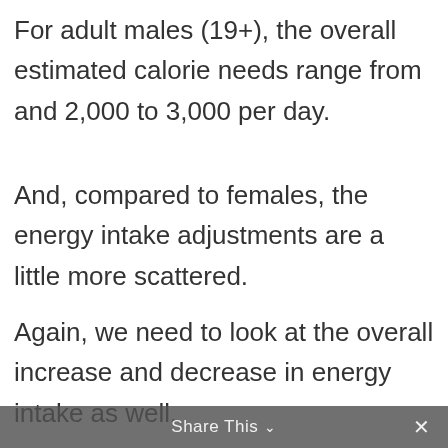For adult males (19+), the overall estimated calorie needs range from and 2,000 to 3,000 per day.
And, compared to females, the energy intake adjustments are a little more scattered.
Again, we need to look at the overall increase and decrease in energy intake as well.
You already know, for males caloric intake peaked at age 19–20, with 2600 calories, for sedentary individuals. For moderately active and active males the peak occurred at age 16, with 3200 and
Share This ∨  ×